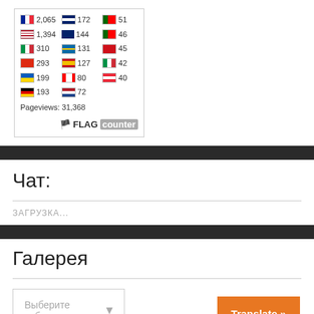[Figure (screenshot): Flag counter widget showing country visitor counts. Rows: FR 2,065 (partial), US 1,394 / GB 144 / PT 46, IT 310 / SE 131 / BY 45, CN 293 / ES 127 / IT 42, UA 199 / CA 80 / AT 40, DE 193 / NL 72. Pageviews: 31,368. FLAG counter logo at bottom right.]
Чат:
ЗАГРУЗКА...
Галерея
Выберите рубрику